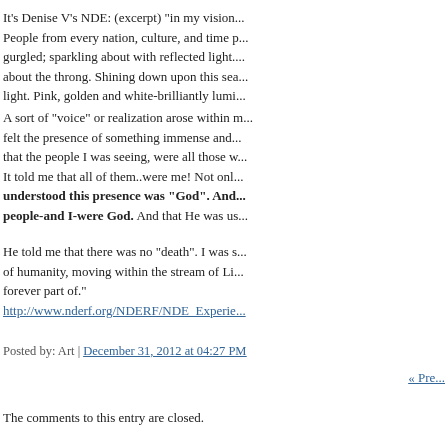It's Denise V's NDE: (excerpt) "in my vision... People from every nation, culture, and time p... gurgled; sparkling about with reflected light... about the throng. Shining down upon this sea... light. Pink, golden and white-brilliantly lumi...
A sort of "voice" or realization arose within m... felt the presence of something immense and... that the people I was seeing, were all those w... It told me that all of them..were me! Not onl... understood this presence was "God". And... people-and I-were God. And that He was us...
He told me that there was no "death". I was s... of humanity, moving within the stream of Li... forever part of."
http://www.nderf.org/NDERF/NDE_Experie...
Posted by: Art | December 31, 2012 at 04:27 PM
« Pre...
The comments to this entry are closed.